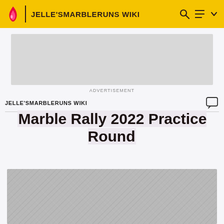JELLE'SMARBLERUNS WIKI
[Figure (other): Advertisement placeholder — grey rectangle]
ADVERTISEMENT
JELLE'SMARBLERUNS WIKI
Marble Rally 2022 Practice Round
[Figure (photo): Concrete or stone textured surface, grey tones — bottom portion of page image]